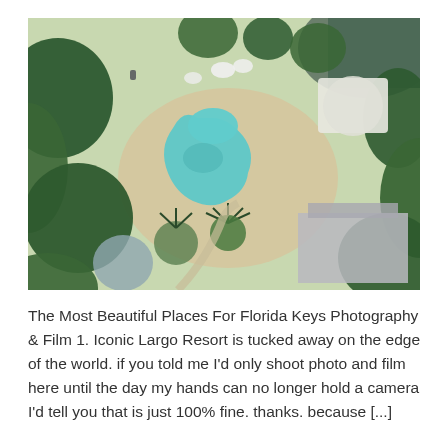[Figure (photo): Aerial drone photograph of Iconic Largo Resort showing a freeform swimming pool surrounded by tropical trees, palm trees, sandy pathways, white umbrellas, and resort buildings. A body of water is visible in the upper right corner.]
The Most Beautiful Places For Florida Keys Photography & Film 1. Iconic Largo Resort is tucked away on the edge of the world. if you told me I'd only shoot photo and film here until the day my hands can no longer hold a camera I'd tell you that is just 100% fine. thanks. because [...]